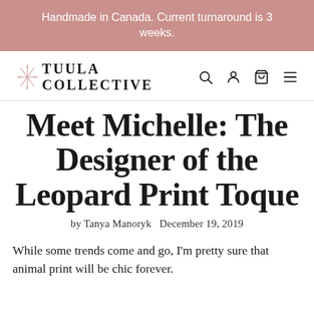Handmade in Canada. Current turnaround is 3 weeks.
[Figure (logo): Tuula Collective logo with decorative snowflake/leaf icon and navigation icons (search, account, cart, menu)]
Meet Michelle: The Designer of the Leopard Print Toque
by Tanya Manoryk   December 19, 2019
While some trends come and go, I'm pretty sure that animal print will be chic forever.